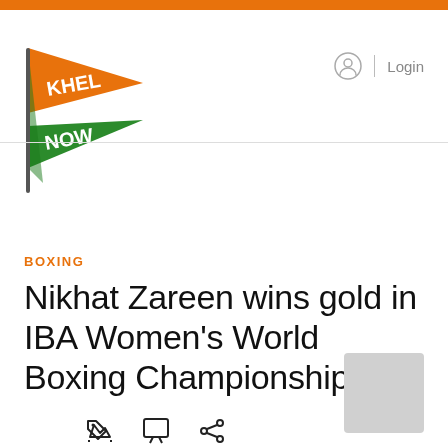[Figure (logo): Khel Now logo — a pennant flag in orange, white, and green with 'KHEL NOW' text]
Login
BOXING
Nikhat Zareen wins gold in IBA Women's World Boxing Championships